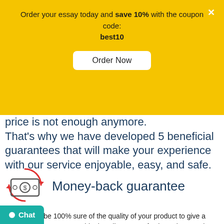Order your essay today and save 10% with the coupon code: best10
Order Now
price is not enough anymore. That's why we have developed 5 beneficial guarantees that will make your experience with our service enjoyable, easy, and safe.
[Figure (illustration): Money-back guarantee icon: a cash/money graphic with circular red arrows around it indicating a refund cycle]
Money-back guarantee
You have to be 100% sure of the quality of your product to give a money-back guarantee. This describes us perfectly. Make sure that this guarantee is totally transparent.
Chat